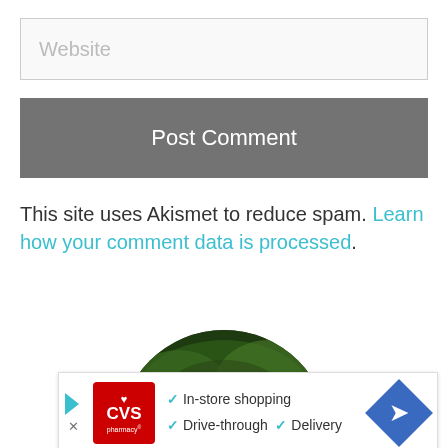Website
Post Comment
This site uses Akismet to reduce spam. Learn how your comment data is processed.
[Figure (photo): Circular profile photo of a person with dark hair against a green leafy background, partially visible]
[Figure (infographic): CVS Pharmacy advertisement banner showing: In-store shopping, Drive-through, Delivery with checkmarks and navigation arrow icon]